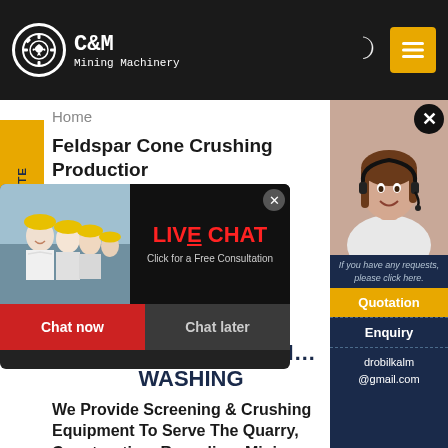C&M Mining Machinery
Home
Feldspar Cone Crushing Production
[Figure (photo): Live chat popup with workers in yellow hard hats on left and LIVE CHAT text with 'Click for a Free Consultation' on right, with Chat now and Chat later buttons]
CRUSHING | SCREENING | WASHING
We Provide Screening & Crushing Equipment To Serve The Quarry, Construction, Recycling, Mining, And Sand
[Figure (photo): Customer service agent (woman with headset smiling) photo in right panel sidebar]
If you have any requests, please click here.
Quotation
Enquiry
drobilkalm@gmail.com